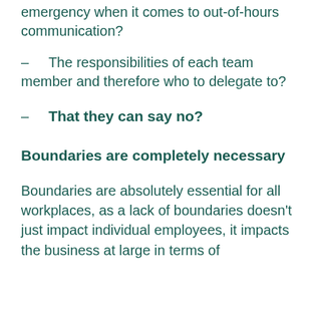emergency when it comes to out-of-hours communication?
The responsibilities of each team member and therefore who to delegate to?
That they can say no?
Boundaries are completely necessary
Boundaries are absolutely essential for all workplaces, as a lack of boundaries doesn't just impact individual employees, it impacts the business at large in terms of